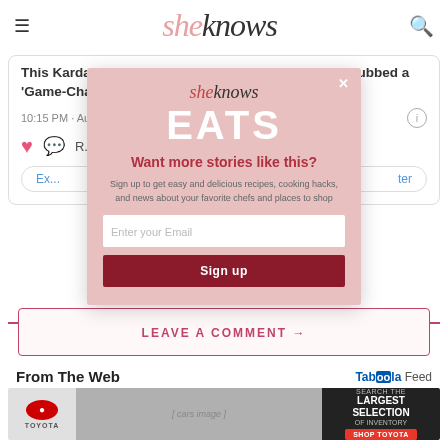sheknows
This Kardashian-Approved Makeup Tool Has Been Dubbed a 'Game-Changer' for Sculpting Your Face
10:15 PM · Aug 28, 2022
[Figure (screenshot): sheknows EATS newsletter signup modal with 'Want more stories like this?' headline, email input field, and Sign up button]
LEAVE A COMMENT →
From The Web
[Figure (photo): Toyota advertisement banner showing cars and 'Search the Largest Selection of Inventory' text with Shop Toyota button]